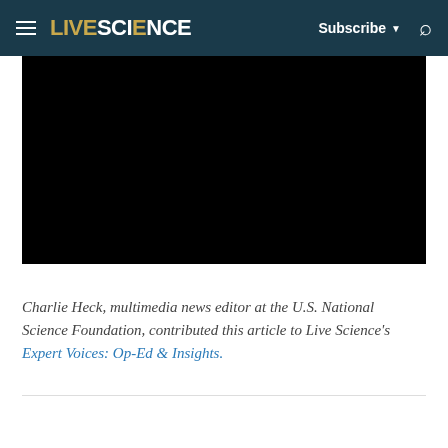LIVE SCIENCE — Subscribe ▼ [Search icon]
[Figure (screenshot): Black video player embed, fully black frame with no visible content]
Charlie Heck, multimedia news editor at the U.S. National Science Foundation, contributed this article to Live Science's Expert Voices: Op-Ed & Insights.